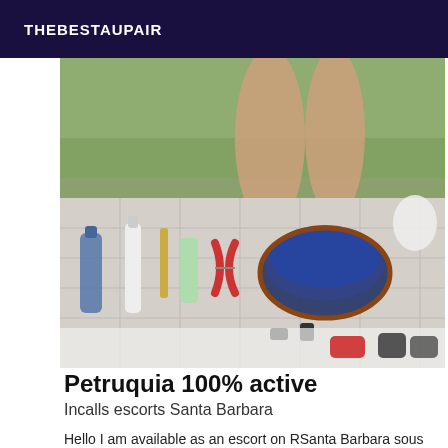THEBESTAUPAIR
[Figure (photo): A blurry photo taken from above showing a person's legs near a bathtub or sink edge, with various bottles, toiletries, scissors, and personal care items on a tiled surface. A dark blue bowl and green fabric are visible in the background.]
Petruquia 100% active
Incalls escorts Santa Barbara
Hello I am available as an escort on RSanta Barbara sous bois I do everything darling with strong domination